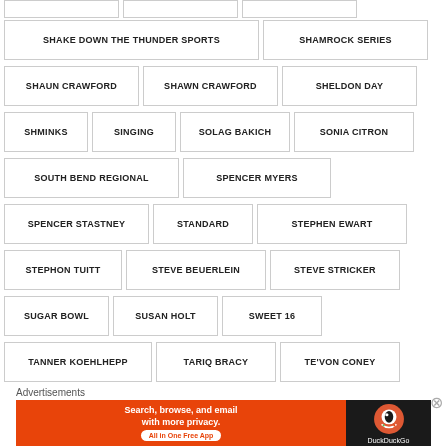SHAKE DOWN THE THUNDER SPORTS
SHAMROCK SERIES
SHAUN CRAWFORD
SHAWN CRAWFORD
SHELDON DAY
SHMINKS
SINGING
SOLAG BAKICH
SONIA CITRON
SOUTH BEND REGIONAL
SPENCER MYERS
SPENCER STASTNEY
STANDARD
STEPHEN EWART
STEPHON TUITT
STEVE BEUERLEIN
STEVE STRICKER
SUGAR BOWL
SUSAN HOLT
SWEET 16
TANNER KOEHLHEPP
TARIQ BRACY
TE'VON CONEY
Advertisements
[Figure (other): DuckDuckGo advertisement banner: Search, browse, and email with more privacy. All in One Free App. DuckDuckGo logo.]